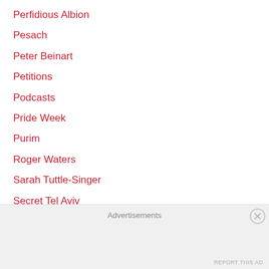Perfidious Albion
Pesach
Peter Beinart
Petitions
Podcasts
Pride Week
Purim
Roger Waters
Sarah Tuttle-Singer
Secret Tel Aviv
Shameless Self Promotion
Sheikh Nasrallah
Start Up Nation
Tel Aviv Living
Advertisements
REPORT THIS AD